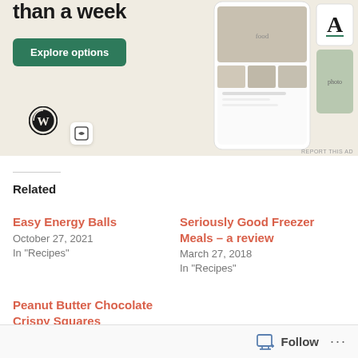[Figure (screenshot): WordPress.com advertisement banner with text 'than a week', green 'Explore options' button, WordPress logo, and app screenshots showing food photos on mobile screen]
Related
Easy Energy Balls
October 27, 2021
In "Recipes"
Seriously Good Freezer Meals – a review
March 27, 2018
In "Recipes"
Peanut Butter Chocolate Crispy Squares
June 13, 2019
Follow ...